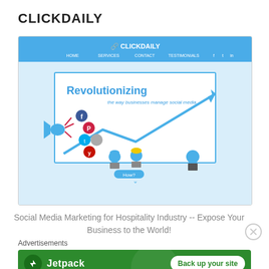CLICKDAILY
[Figure (screenshot): Screenshot of the ClickDaily website showing a blue navigation header, a hero section with 'Revolutionizing the way businesses manage social media' text and a rising line chart graphic with social media icons (Facebook, Pinterest, Twitter, Yelp), robot characters at the bottom, and a 'How?' button.]
Social Media Marketing for Hospitality Industry -- Expose Your Business to the World!
Advertisements
[Figure (infographic): Jetpack advertisement banner with green background showing Jetpack logo and 'Back up your site' button.]